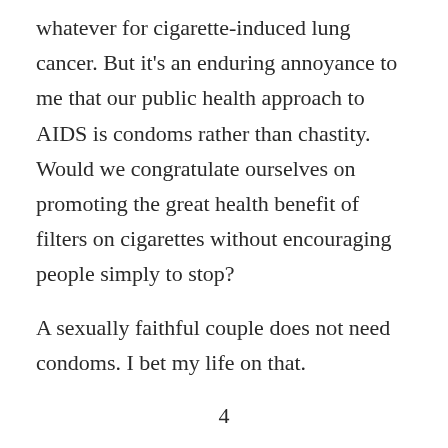whatever for cigarette-induced lung cancer. But it's an enduring annoyance to me that our public health approach to AIDS is condoms rather than chastity. Would we congratulate ourselves on promoting the great health benefit of filters on cigarettes without encouraging people simply to stop?
A sexually faithful couple does not need condoms. I bet my life on that.
4
I'll give him credit for not comparing it to black civil rights, but I think Michael Kinsley may be trying consciously to create a halo effect over same-sex marriage by associating it with future, not past, social